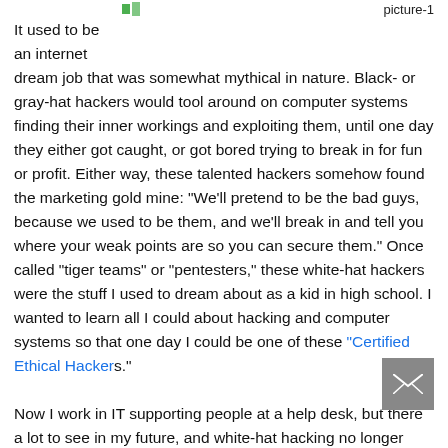picture-1
It used to be an internet dream job that was somewhat mythical in nature. Black- or gray-hat hackers would tool around on computer systems finding their inner workings and exploiting them, until one day they either got caught, or got bored trying to break in for fun or profit. Either way, these talented hackers somehow found the marketing gold mine: "We'll pretend to be the bad guys, because we used to be them, and we'll break in and tell you where your weak points are so you can secure them." Once called "tiger teams" or "pentesters," these white-hat hackers were the stuff I used to dream about as a kid in high school. I wanted to learn all I could about hacking and computer systems so that one day I could be one of these "Certified Ethical Hackers."
Now I work in IT supporting people at a help desk, but there a lot to see in my future, and white-hat hacking no longer seems